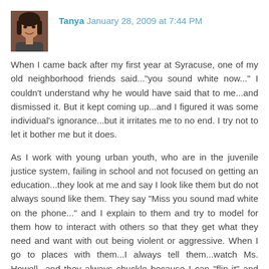[Figure (photo): Small square avatar photo of a woman (Tanya), dark hair, smiling.]
Tanya January 28, 2009 at 7:44 PM
When I came back after my first year at Syracuse, one of my old neighborhood friends said..."you sound white now..." I couldn't understand why he would have said that to me...and dismissed it. But it kept coming up...and I figured it was some individual's ignorance...but it irritates me to no end. I try not to let it bother me but it does.
As I work with young urban youth, who are in the juvenile justice system, failing in school and not focused on getting an education...they look at me and say I look like them but do not always sound like them. They say "Miss you sound mad white on the phone..." and I explain to them and try to model for them how to interact with others so that they get what they need and want with out being violent or aggressive. When I go to places with them...I always tell them...watch Ms. Howell...and they always chuckle because I can "flip it" and let people know in a professional manner what I need. I appreciate the time to model this for the youth I work with. I just don't think that enough people